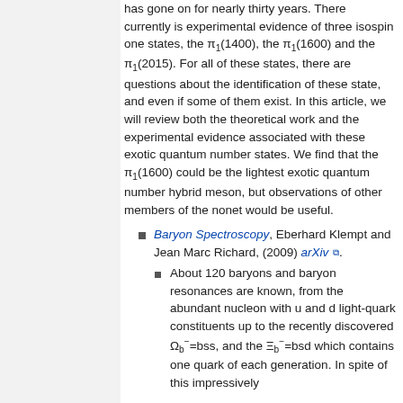has gone on for nearly thirty years. There currently is experimental evidence of three isospin one states, the π₁(1400), the π₁(1600) and the π₁(2015). For all of these states, there are questions about the identification of these state, and even if some of them exist. In this article, we will review both the theoretical work and the experimental evidence associated with these exotic quantum number states. We find that the π₁(1600) could be the lightest exotic quantum number hybrid meson, but observations of other members of the nonet would be useful.
Baryon Spectroscopy, Eberhard Klempt and Jean Marc Richard, (2009) arXiv.
About 120 baryons and baryon resonances are known, from the abundant nucleon with u and d light-quark constituents up to the recently discovered Ω_b⁻=bss, and the Ξ_b⁻=bsd which contains one quark of each generation. In spite of this impressively